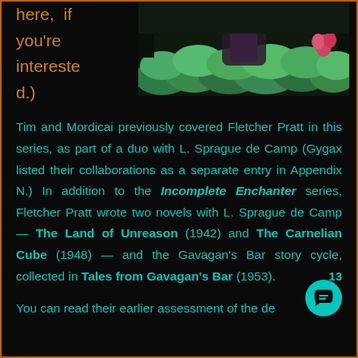here, if you're interested.)
[Figure (photo): Cropped book cover art showing a figure amid green cloud-like shapes with a pink flower, dark background]
Tim and Mordicai previously covered Fletcher Pratt in this series, as part of a duo with L. Sprague de Camp (Gygax listed their collaborations as a separate entry in Appendix N.) In addition to the Incomplete Enchanter series, Fletcher Pratt wrote two novels with L. Sprague de Camp — The Land of Unreason (1942) and The Carnelian Cube (1948) — and the Gavagan's Bar story cycle, collected in Tales from Gavagan's Bar (1953).
13
You can read their earlier assessment of the de